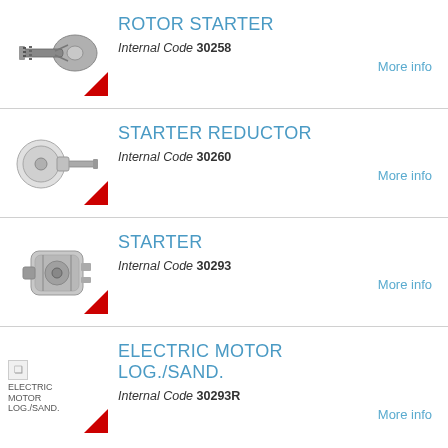[Figure (photo): Rotor starter component photo with Swiss flag triangle badge]
ROTOR STARTER
Internal Code 30258
More info
[Figure (photo): Starter reductor component photo with Swiss flag triangle badge]
STARTER REDUCTOR
Internal Code 30260
More info
[Figure (photo): Starter component photo with Swiss flag triangle badge]
STARTER
Internal Code 30293
More info
[Figure (photo): Electric motor log./sand. broken image placeholder with Swiss flag triangle badge]
ELECTRIC MOTOR LOG./SAND.
Internal Code 30293R
More info